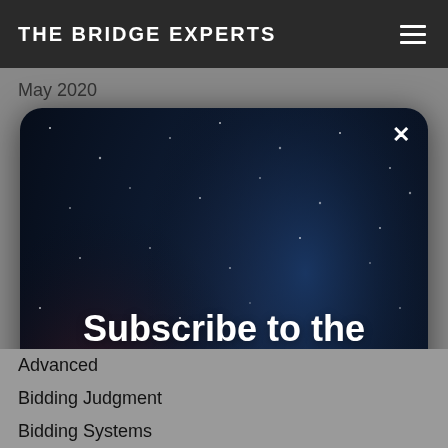THE BRIDGE EXPERTS
May 2020
[Figure (screenshot): A modal popup dialog over a dark space/night sky background image. Contains headline 'Subscribe to the Bridge Academy!', subtext 'Get access to a library with 100+ short videos and growing! New videos are added every week.', and a red 'Enroll here!' button. A white X close button is in the top right corner.]
Advanced
Bidding Judgment
Bidding Systems